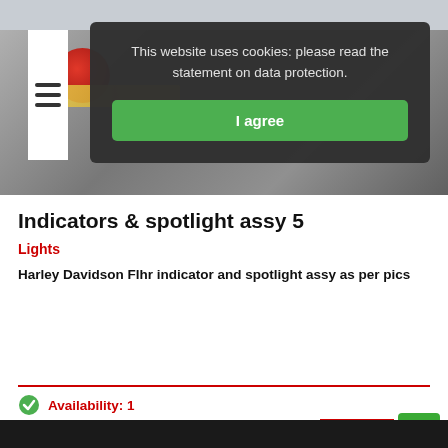[Figure (screenshot): Cookie consent popup overlay on a webpage showing product listing. Dark semi-transparent popup with text 'This website uses cookies: please read the statement on data protection.' and a green 'I agree' button.]
This website uses cookies: please read the statement on data protection.
Indicators & spotlight assy 5
Lights
Harley Davidson Flhr indicator and spotlight assy as per pics
Availability: 1
$150.00 (GST incl.)